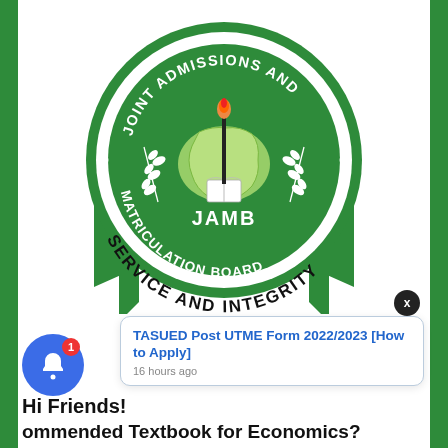[Figure (logo): JAMB (Joint Admissions and Matriculation Board) circular logo in green and white. Green circle with text 'JOINT ADMISSIONS AND MATRICULATION BOARD' around the rim, and 'SERVICE AND INTEGRITY' below. Center shows Nigeria map silhouette in light green with an open book and a torch with red flame. 'JAMB' text inside. Two green ribbon/banner pieces on bottom left and right. White wheat/laurel branches on both sides inside the circle.]
Hi Friends!
ommended Textbook for Economics?
[Figure (screenshot): Blue notification bell icon with red badge showing '1'. A popup card on the right showing link 'TASUED Post UTME Form 2022/2023 [How to Apply]' in blue text, and '16 hours ago' in grey. A dark X close button in top right of popup.]